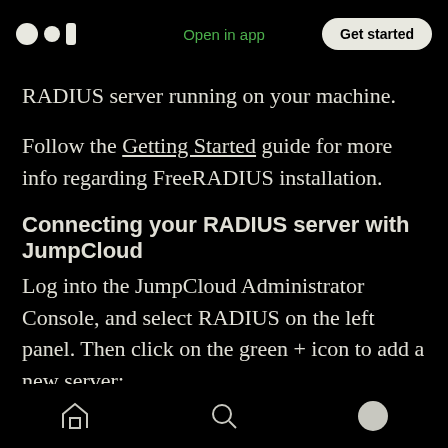Medium logo | Open in app | Get started
RADIUS server running on your machine.
Follow the Getting Started guide for more info regarding FreeRADIUS installation.
Connecting your RADIUS server with JumpCloud
Log into the JumpCloud Administrator Console, and select RADIUS on the left panel. Then click on the green + icon to add a new server:
In the Server Name box just type a friendly name.
Home | Search | Profile